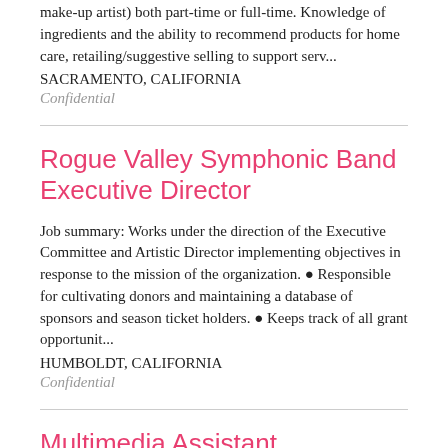make-up artist) both part-time or full-time. Knowledge of ingredients and the ability to recommend products for home care, retailing/suggestive selling to support serv...
SACRAMENTO, CALIFORNIA
Confidential
Rogue Valley Symphonic Band Executive Director
Job summary: Works under the direction of the Executive Committee and Artistic Director implementing objectives in response to the mission of the organization. • Responsible for cultivating donors and maintaining a database of sponsors and season ticket holders. • Keeps track of all grant opportunit...
HUMBOLDT, CALIFORNIA
Confidential
Multimedia Assistant
# East Central College ## Multimedia Assistant **Job Label:** Multimedia Assistant FY23 **East Central College** has an opening for a part-time Multimedia Assistant responsible for